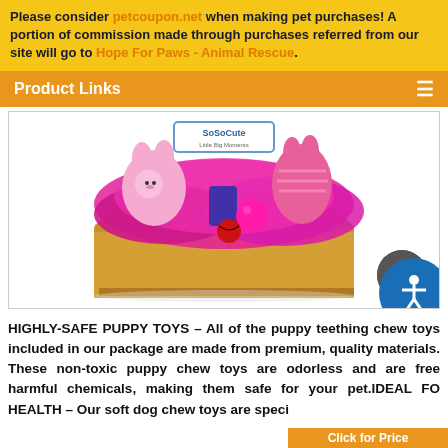Please consider petcoupon.net when making pet purchases! A portion of commission made through purchases referred from our site will go to Hope For Paws - Animal Rescue.
Product Links
[Figure (photo): A cardboard box filled with pink and magenta puppy toys including plush stuffed animals, chew toys, and a ball, shown against a white background. The box has a 'SoSoCute Little Big Moments' label.]
HIGHLY-SAFE PUPPY TOYS – All of the puppy teething chew toys included in our package are made from premium, quality materials. These non-toxic puppy chew toys are odorless and are free harmful chemicals, making them safe for your pet.IDEAL FO HEALTH – Our soft dog chew toys are speci